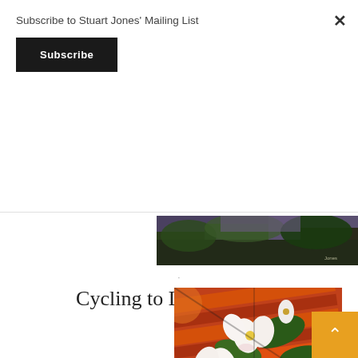Subscribe to Stuart Jones' Mailing List
Subscribe
×
[Figure (photo): Top strip of a painting showing dark foliage with blues and greens, artist signature visible]
Cycling to Low Hauxley
[Figure (photo): Painting of white flowers with pink accents on a striped orange and red background with green leaves]